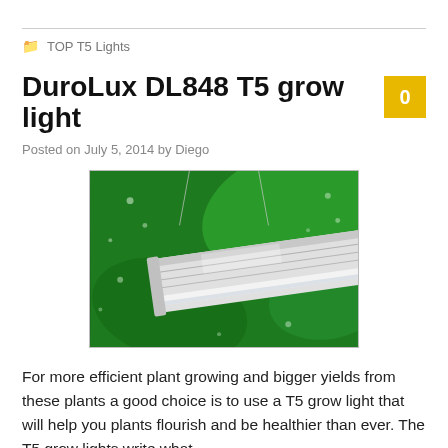TOP T5 Lights
DuroLux DL848 T5 grow light
Posted on July 5, 2014 by Diego
[Figure (photo): DuroLux DL848 T5 grow light fixture suspended against a green plant background with water droplets]
For more efficient plant growing and bigger yields from these plants a good choice is to use a T5 grow light that will help you plants flourish and be healthier than ever. The T5 grow lights write what